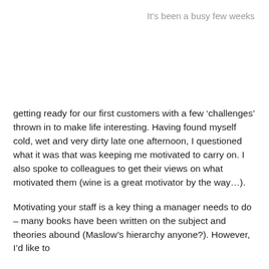It’s been a busy few weeks
getting ready for our first customers with a few ‘challenges’ thrown in to make life interesting. Having found myself cold, wet and very dirty late one afternoon, I questioned what it was that was keeping me motivated to carry on. I also spoke to colleagues to get their views on what motivated them (wine is a great motivator by the way…).
Motivating your staff is a key thing a manager needs to do – many books have been written on the subject and theories abound (Maslow’s hierarchy anyone?). However, I’d like to